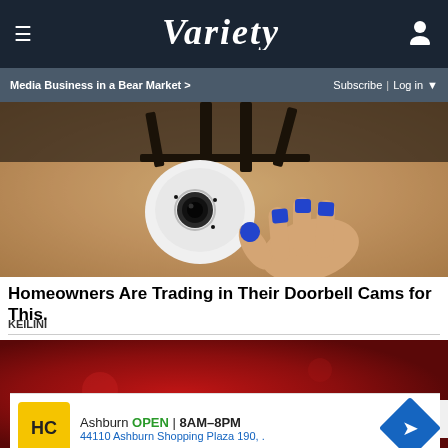VARIETY | Media Business in a Bear Market > | Subscribe | Log in
[Figure (photo): A white security camera mounted near a textured stucco wall, with a hand with blue-painted nails touching it]
Homeowners Are Trading in Their Doorbell Cams for This.
KEILINI
[Figure (photo): Dark red/maroon background with partial circular shape visible at bottom center, advertisement overlay with close X button]
Ashburn OPEN 8AM–8PM
44110 Ashburn Shopping Plaza 190, .